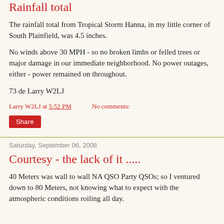Rainfall total
The rainfall total from Tropical Storm Hanna, in my little corner of South Plainfield, was 4.5 inches.
No winds above 30 MPH - so no broken limbs or felled trees or major damage in our immediate neighborhood. No power outages, either - power remained on throughout.
73 de Larry W2LJ
Larry W2LJ at 5:52 PM    No comments:
Share
Saturday, September 06, 2008
Courtesy - the lack of it .....
40 Meters was wall to wall NA QSO Party QSOs; so I ventured down to 80 Meters, not knowing what to expect with the atmospheric conditions roiling all day.